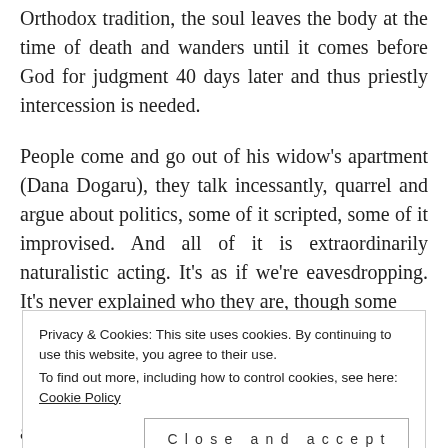Orthodox tradition, the soul leaves the body at the time of death and wanders until it comes before God for judgment 40 days later and thus priestly intercession is needed.
People come and go out of his widow's apartment (Dana Dogaru), they talk incessantly, quarrel and argue about politics, some of it scripted, some of it improvised. And all of it is extraordinarily naturalistic acting. It's as if we're eavesdropping. It's never explained who they are, though some
Privacy & Cookies: This site uses cookies. By continuing to use this website, you agree to their use.
To find out more, including how to control cookies, see here: Cookie Policy
Close and accept
architecture student, who vomits on